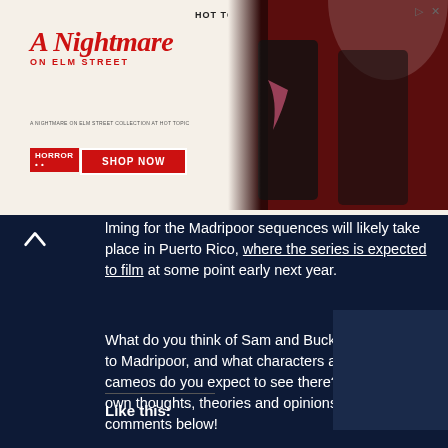[Figure (photo): Hot Topic advertisement for A Nightmare on Elm Street merchandise with two people in dark clothing against a red curtain background, with SHOP NOW button]
lming for the Madripoor sequences will likely take place in Puerto Rico, where the series is expected to film at some point early next year.
What do you think of Sam and Bucky shipping out to Madripoor, and what characters and comic-cameos do you expect to see there? Share your own thoughts, theories and opinions in the comments below!
Like this: